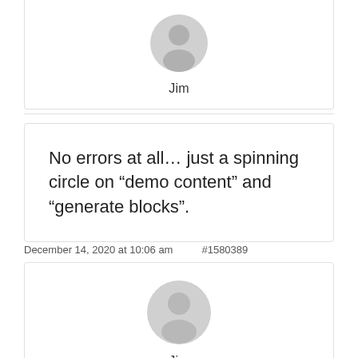[Figure (illustration): Gray user avatar icon (silhouette) for user Jim]
Jim
No errors at all… just a spinning circle on “demo content” and “generate blocks”.
December 14, 2020 at 10:06 am    #1580389
[Figure (illustration): Gray user avatar icon (silhouette) for user Jim]
Jim